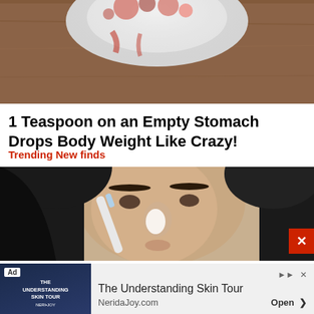[Figure (photo): Top portion of a donut or pastry with red and white frosting/sugar on a wooden surface, partially cropped]
1 Teaspoon on an Empty Stomach Drops Body Weight Like Crazy!
Trending New finds
[Figure (photo): Close-up photo of a woman with dark hair applying white cream to her nose with a toothbrush or brush applicator]
Ad The Understanding Skin Tour NeridaJoy.com Open >